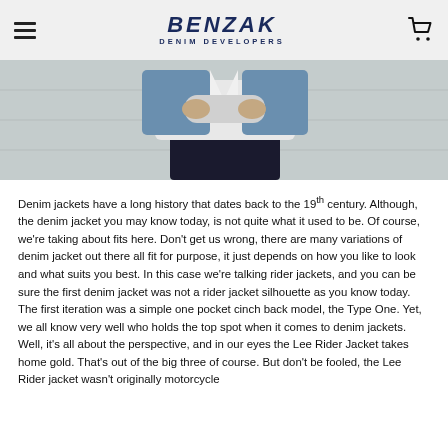BENZAK DENIM DEVELOPERS
[Figure (photo): Person wearing a denim jacket over a white shirt with dark pants, standing against a concrete wall. Cropped to show torso only.]
Denim jackets have a long history that dates back to the 19th century. Although, the denim jacket you may know today, is not quite what it used to be. Of course, we're taking about fits here. Don't get us wrong, there are many variations of denim jacket out there all fit for purpose, it just depends on how you like to look and what suits you best. In this case we're talking rider jackets, and you can be sure the first denim jacket was not a rider jacket silhouette as you know today. The first iteration was a simple one pocket cinch back model, the Type One. Yet, we all know very well who holds the top spot when it comes to denim jackets. Well, it's all about the perspective, and in our eyes the Lee Rider Jacket takes home gold. That's out of the big three of course. But don't be fooled, the Lee Rider jacket wasn't originally motorcycle